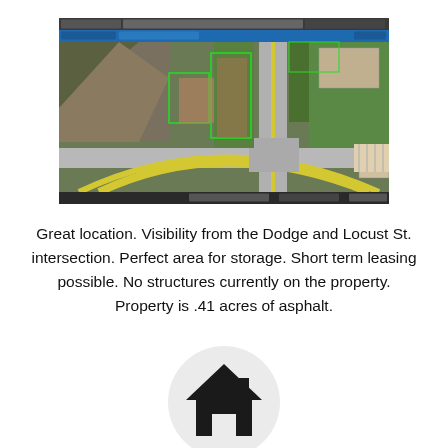[Figure (screenshot): Aerial/satellite map screenshot showing an intersection with roads, yellow road markings, properties, and land parcels viewed from above in a GIS/land records application.]
Great location. Visibility from the Dodge and Locust St. intersection. Perfect area for storage. Short term leasing possible. No structures currently on the property. Property is .41 acres of asphalt.
[Figure (illustration): A house/home icon (silhouette of a house) inside a light gray circular background, representing a real estate or property listing logo/icon.]